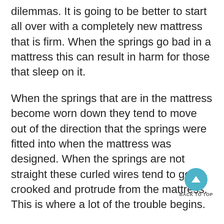dilemmas. It is going to be better to start all over with a completely new mattress that is firm. When the springs go bad in a mattress this can result in harm for those that sleep on it.
When the springs that are in the mattress become worn down they tend to move out of the direction that the springs were fitted into when the mattress was designed. When the springs are not straight these curled wires tend to go crooked and protrude from the mattress. This is where a lot of the trouble begins.
Once the springs start to stick out of the mattress it can become dangerous to even sleep on the mattress so it makes more sense to purchase a new mattress at these times. Even if you purchased a mattress topper for a bed like